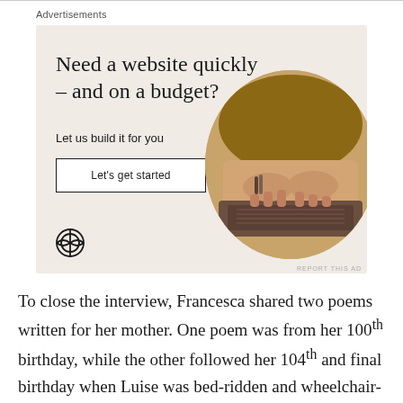Advertisements
[Figure (other): WordPress advertisement banner with beige background. Headline: 'Need a website quickly – and on a budget?' Subtext: 'Let us build it for you'. Button: 'Let's get started'. WordPress logo bottom left. Circular photo of hands typing on laptop.]
To close the interview, Francesca shared two poems written for her mother. One poem was from her 100th birthday, while the other followed her 104th and final birthday when Luise was bed-ridden and wheelchair-bound. The two poems are as follows: